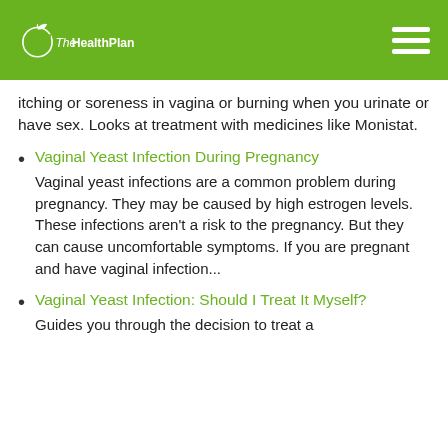The Health Plan
itching or soreness in vagina or burning when you urinate or have sex. Looks at treatment with medicines like Monistat.
Vaginal Yeast Infection During Pregnancy
Vaginal yeast infections are a common problem during pregnancy. They may be caused by high estrogen levels. These infections aren't a risk to the pregnancy. But they can cause uncomfortable symptoms. If you are pregnant and have vaginal infection...
Vaginal Yeast Infection: Should I Treat It Myself?
Guides you through the decision to treat a